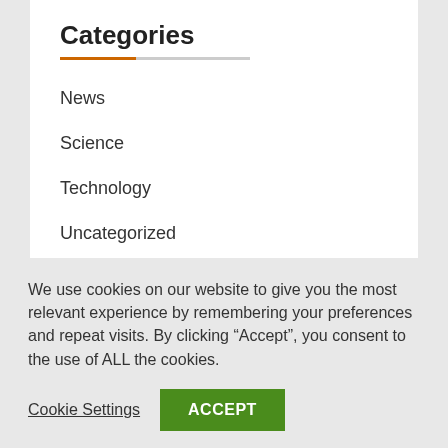Categories
News
Science
Technology
Uncategorized
We use cookies on our website to give you the most relevant experience by remembering your preferences and repeat visits. By clicking “Accept”, you consent to the use of ALL the cookies.
Cookie Settings  ACCEPT